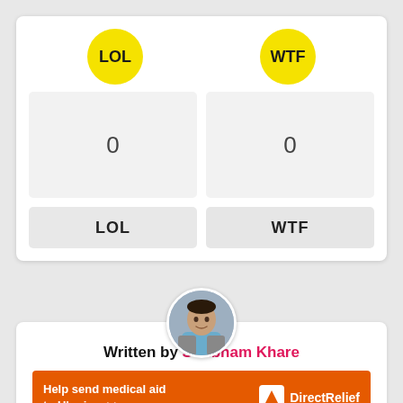[Figure (infographic): LOL and WTF reaction buttons with yellow circular badges, count boxes showing 0, and labeled buttons]
[Figure (photo): Circular avatar photo of a man (Shubham Khare)]
Written by Shubham Khare
[Figure (infographic): Orange ad banner: Help send medical aid to Ukraine >> with Direct Relief logo]